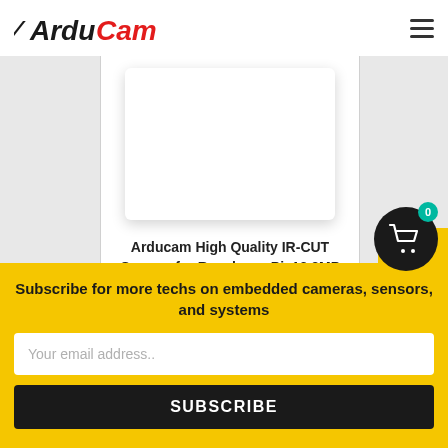[Figure (logo): ArduCam logo with black italic 'Ardu' and red italic 'Cam' text]
Arducam High Quality IR-CUT Camera for Raspberry Pi, 12.3MP 1/2.3 Inch IMX477..
[Figure (other): Orange Buy Now button with play icon]
[Figure (other): Black circular shopping cart button with teal badge showing 0]
Subscribe for more techs on embedded cameras, sensors, and systems
Your email address..
SUBSCRIBE